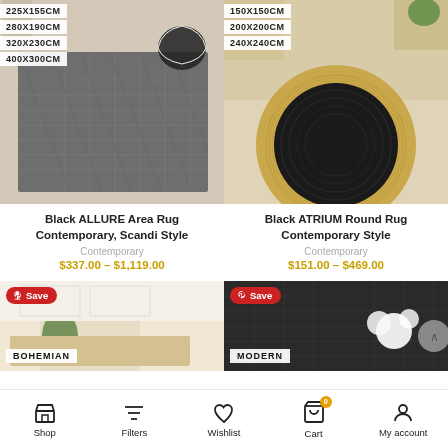[Figure (photo): Grey textured area rug with Scandi/herringbone pattern shown in a room setting with size options: 225X155CM, 280X190CM, 320X230CM, 400X300CM]
Black ALLURE Area Rug Contemporary, Scandi Style
Contemporary
$337.00 – $1,119.00
[Figure (photo): Round black and natural jute rug in a room setting with size options: 150X150CM, 200X200CM, 240X240CM]
Black ATRIUM Round Rug Contemporary Style
Contemporary
$151.00 – $469.00
[Figure (photo): Bohemian style rug in room setting with Pinterest Save badge and BOHEMIAN label]
[Figure (photo): Modern style rug in dark setting with Pinterest Save badge and MODERN label]
Shop  Filters  Wishlist  Cart  My account